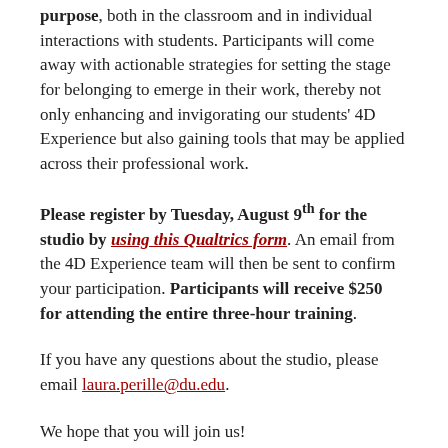purpose, both in the classroom and in individual interactions with students. Participants will come away with actionable strategies for setting the stage for belonging to emerge in their work, thereby not only enhancing and invigorating our students' 4D Experience but also gaining tools that may be applied across their professional work.
Please register by Tuesday, August 9th for the studio by using this Qualtrics form. An email from the 4D Experience team will then be sent to confirm your participation. Participants will receive $250 for attending the entire three-hour training.
If you have any questions about the studio, please email laura.perille@du.edu.
We hope that you will join us!
Best wishes,